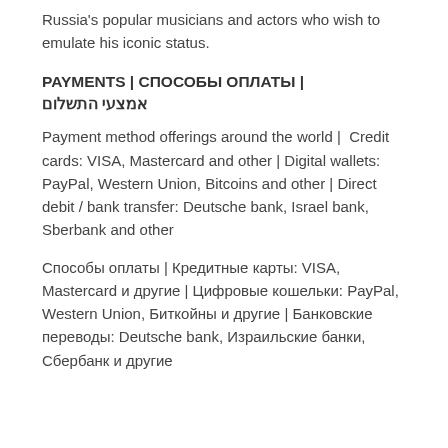Russia's popular musicians and actors who wish to emulate his iconic status.
PAYMENTS | СПОСОБЫ ОПЛАТЫ | אמצעי התשלום
Payment method offerings around the world |  Credit cards: VISA, Mastercard and other | Digital wallets: PayPal, Western Union, Bitcoins and other | Direct debit / bank transfer: Deutsche bank, Israel bank, Sberbank and other
Способы оплаты | Кредитные карты: VISA, Mastercard и другие | Цифровые кошельки: PayPal, Western Union, Биткойны и другие | Банковские переводы: Deutsche bank, Израильские банки, Сбербанк и другие